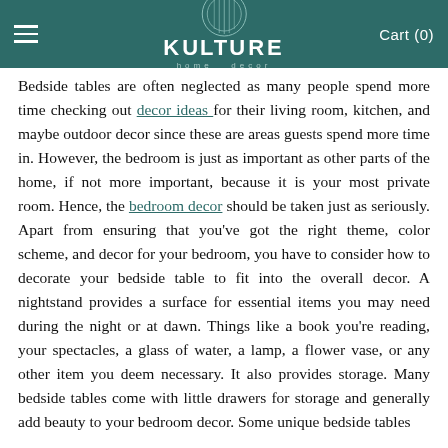KULTURE home decor  Cart (0)
Bedside tables are often neglected as many people spend more time checking out decor ideas for their living room, kitchen, and maybe outdoor decor since these are areas guests spend more time in. However, the bedroom is just as important as other parts of the home, if not more important, because it is your most private room. Hence, the bedroom decor should be taken just as seriously. Apart from ensuring that you've got the right theme, color scheme, and decor for your bedroom, you have to consider how to decorate your bedside table to fit into the overall decor. A nightstand provides a surface for essential items you may need during the night or at dawn. Things like a book you're reading, your spectacles, a glass of water, a lamp, a flower vase, or any other item you deem necessary. It also provides storage. Many bedside tables come with little drawers for storage and generally add beauty to your bedroom decor. Some unique bedside tables